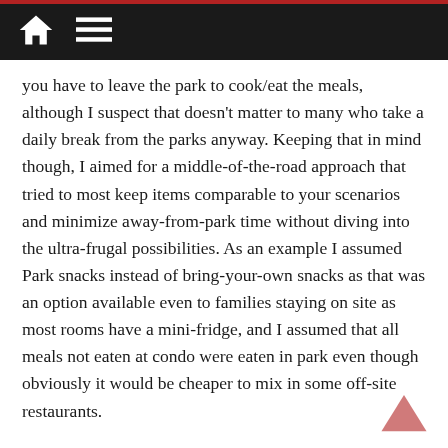Navigation bar with home and menu icons
you have to leave the park to cook/eat the meals, although I suspect that doesn't matter to many who take a daily break from the parks anyway. Keeping that in mind though, I aimed for a middle-of-the-road approach that tried to most keep items comparable to your scenarios and minimize away-from-park time without diving into the ultra-frugal possibilities. As an example I assumed Park snacks instead of bring-your-own snacks as that was an option available even to families staying on site as most rooms have a mini-fridge, and I assumed that all meals not eaten at condo were eaten in park even though obviously it would be cheaper to mix in some off-site restaurants.
I did a CS option that assumed breakfast and one meal at condo, and one CS meal and one snack in the park per day, this came to $27.75 / adult and $20 / child.